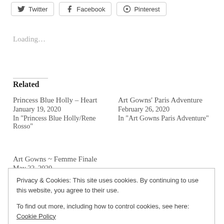[Figure (other): Social share buttons: Twitter, Facebook, Pinterest]
Loading...
Related
Princess Blue Holly – Heart
January 19, 2020
In "Princess Blue Holly/Rene Rosso"
Art Gowns' Paris Adventure
February 26, 2020
In "Art Gowns Paris Adventure"
Art Gowns ~ Femme Finale
May 22, 2020
Privacy & Cookies: This site uses cookies. By continuing to use this website, you agree to their use.
To find out more, including how to control cookies, see here: Cookie Policy
Close and accept